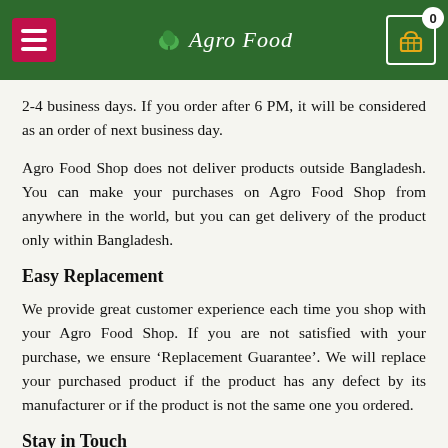Agro Food
2-4 business days. If you order after 6 PM, it will be considered as an order of next business day.
Agro Food Shop does not deliver products outside Bangladesh. You can make your purchases on Agro Food Shop from anywhere in the world, but you can get delivery of the product only within Bangladesh.
Easy Replacement
We provide great customer experience each time you shop with your Agro Food Shop. If you are not satisfied with your purchase, we ensure ‘Replacement Guarantee’. We will replace your purchased product if the product has any defect by its manufacturer or if the product is not the same one you ordered.
Stay in Touch